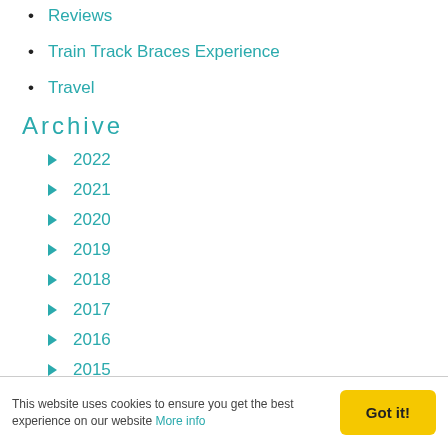Reviews
Train Track Braces Experience
Travel
Archive
2022
2021
2020
2019
2018
2017
2016
2015
2014
This website uses cookies to ensure you get the best experience on our website More info
Got it!